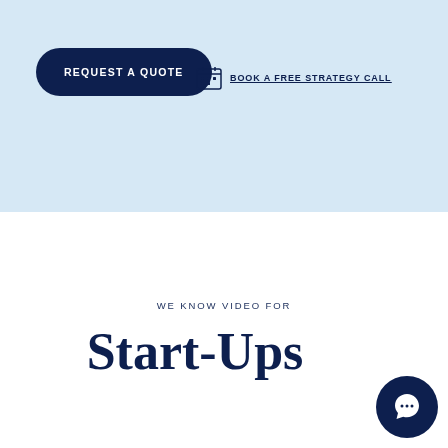REQUEST A QUOTE
BOOK A FREE STRATEGY CALL
WE KNOW VIDEO FOR
Start-Ups